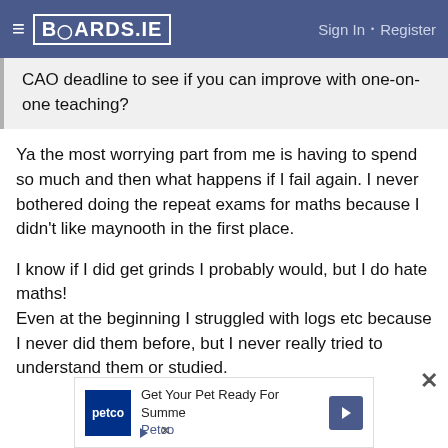BOARDS.IE   Sign In · Register
CAO deadline to see if you can improve with one-on-one teaching?
Ya the most worrying part from me is having to spend so much and then what happens if I fail again. I never bothered doing the repeat exams for maths because I didn't like maynooth in the first place.
I know if I did get grinds I probably would, but I do hate maths!
Even at the beginning I struggled with logs etc because I never did them before, but I never really tried to understand them or studied.
[Figure (infographic): Petco advertisement banner: 'Get Your Pet Ready For Summe' with Petco logo and navigation arrow]